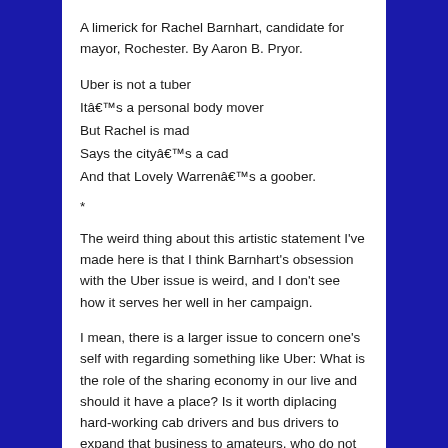A limerick for Rachel Barnhart, candidate for mayor, Rochester. By Aaron B. Pryor.
Uber is not a tuber
Itâ€™s a personal body mover
But Rachel is mad
Says the cityâ€™s a cad
And that Lovely Warrenâ€™s a goober.
*
The weird thing about this artistic statement I've made here is that I think Barnhart's obsession with the Uber issue is weird, and I don't see how it serves her well in her campaign.
I mean, there is a larger issue to concern one's self with regarding something like Uber: What is the role of the sharing economy in our live and should it have a place? Is it worth diplacing hard-working cab drivers and bus drivers to expand that business to amateurs, who do not have to